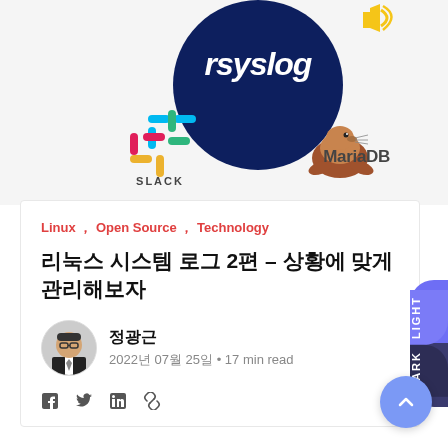[Figure (illustration): Banner image showing rsyslog logo (dark blue circle with 'rsyslog' text), Slack logo (colorful grid icon with 'SLACK' label), and MariaDB logo (seal mascot with 'MariaDB' text). Yellow speaker icon visible at top right.]
Linux ,  Open Source ,  Technology
리눅스 시스템 로그 2편 – 상황에 맞게 관리해보자
정광근
2022년 07월 25일 • 17 min read